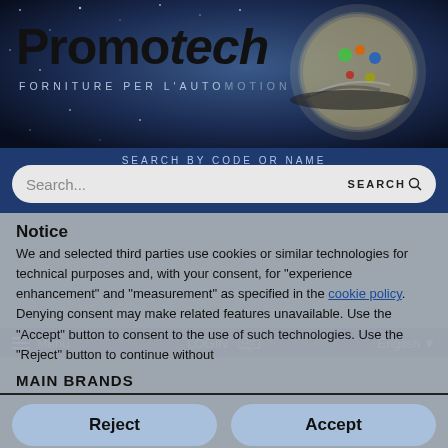[Figure (logo): Promotech logo with globe/electronics sphere on dark space background. Text: Promotech FORNITURE PER L'AUTOMOTION]
SEARCH BY CODE OR NAME
Search...
SEARCH
Notice
We and selected third parties use cookies or similar technologies for technical purposes and, with your consent, for "experience enhancement" and "measurement" as specified in the cookie policy. Denying consent may make related features unavailable. Use the "Accept" button to consent to the use of such technologies. Use the "Reject" button to continue without
MAIN BRANDS
Reject
Accept
Siemens
Learn more and customize